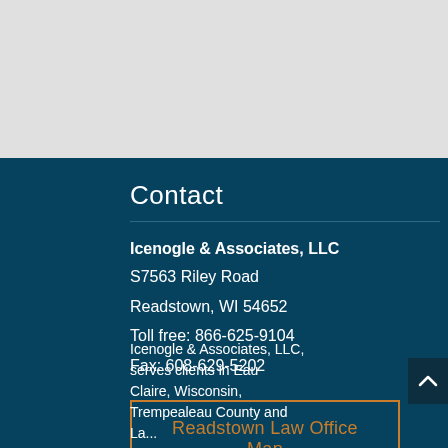[Figure (other): Gray background area at top of page]
Contact
Icenogle & Associates, LLC
S7563 Riley Road
Readstown, WI 54652
Toll free: 866-625-9104
Fax: 608-629-5202
Readstown Law Office Map
Icenogle & Associates, LLC, serves clients in Eau Claire, Wisconsin, Trempealeau County and La...